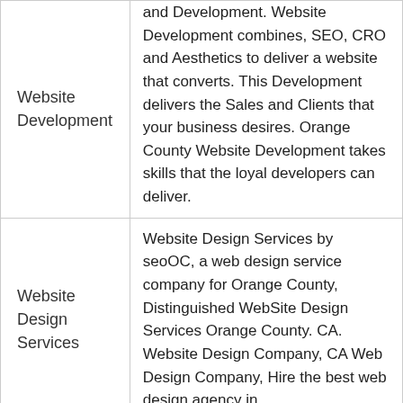| Service | Description |
| --- | --- |
| Website Development | and Development. Website Development combines, SEO, CRO and Aesthetics to deliver a website that converts. This Development delivers the Sales and Clients that your business desires. Orange County Website Development takes skills that the loyal developers can deliver. |
| Website Design Services | Website Design Services by seoOC, a web design service company for Orange County, Distinguished WebSite Design Services Orange County. CA. Website Design Company, CA Web Design Company, Hire the best web design agency in |